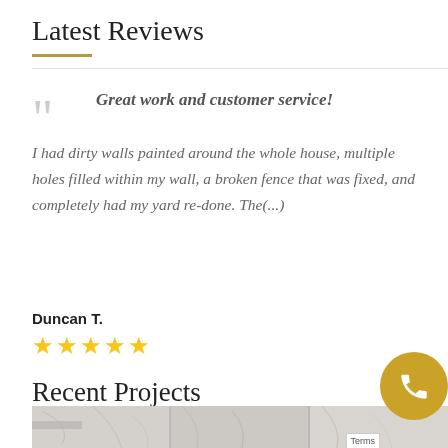Latest Reviews
Great work and customer service! I had dirty walls painted around the whole house, multiple holes filled within my wall, a broken fence that was fixed, and completely had my yard re-done. The(...)
Duncan T.
★★★★★
Recent Projects
[Figure (photo): Marble tile bathroom wall photo strip at bottom of page]